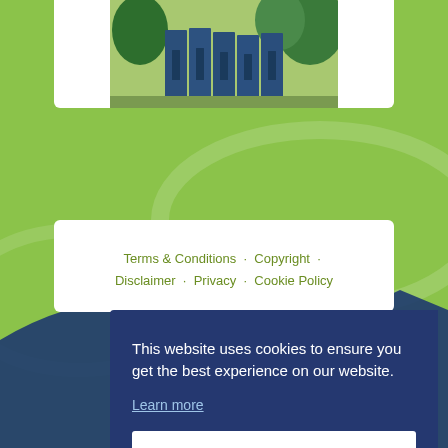[Figure (photo): A row of blue portable toilets lined up outdoors with trees in the background]
Terms & Conditions · Copyright · Disclaimer · Privacy · Cookie Policy
This website uses cookies to ensure you get the best experience on our website.
Learn more
Okay, thank you.